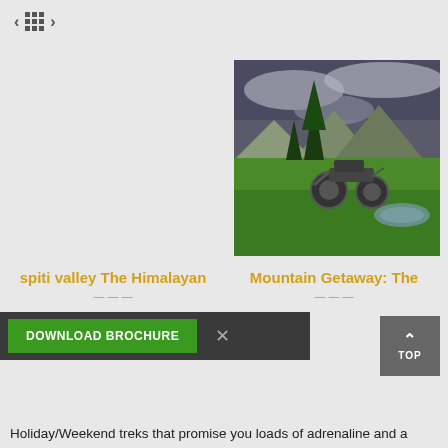< ⊞ >
[Figure (photo): A motorcycle parked on a green meadow with tall pine trees, mountains, and a dramatic cloudy sky in the background. A small puddle reflects the sky on the right side.]
spiti valley The Himalayan
Mountain Getaway: The
DOWNLOAD BROCHURE  ×
Holiday/Weekend treks that promise you loads of adrenaline and a